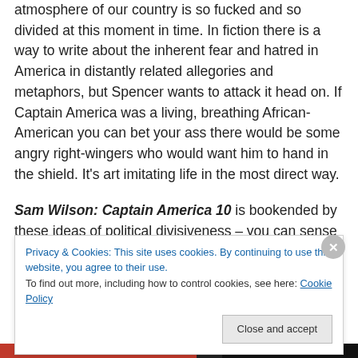atmosphere of our country is so fucked and so divided at this moment in time. In fiction there is a way to write about the inherent fear and hatred in America in distantly related allegories and metaphors, but Spencer wants to attack it head on. If Captain America was a living, breathing African-American you can bet your ass there would be some angry right-wingers who would want him to hand in the shield. It's art imitating life in the most direct way.
Sam Wilson: Captain America 10 is bookended by these ideas of political divisiveness – you can sense that Spencer is going to take the story with these Americans to
Privacy & Cookies: This site uses cookies. By continuing to use this website, you agree to their use.
To find out more, including how to control cookies, see here: Cookie Policy